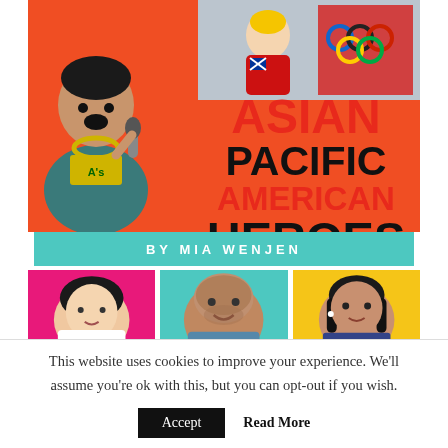[Figure (illustration): Book cover for 'Asian Pacific American Heroes' by Mia Wenjen. Top section shows a performer with microphone on orange background (left) and an athlete in Olympic gear (top right). Large bold title text reads ASIAN PACIFIC AMERICAN HEROES in red and black. Teal byline bar reads BY MIA WENJEN. Bottom row shows three portrait photos on pink, teal, and yellow backgrounds.]
This website uses cookies to improve your experience. We'll assume you're ok with this, but you can opt-out if you wish.
Accept   Read More